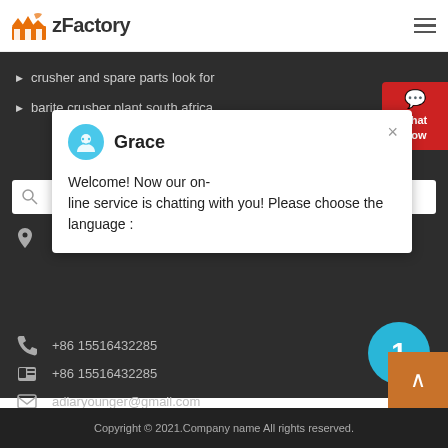[Figure (logo): zFactory logo with orange factory building icon and bold text 'zFactory']
crusher and spare parts look for
barite crusher plant south africa
[Figure (screenshot): Chat popup with agent Grace. Message: Welcome! Now our on-line service is chatting with you! Please choose the language :]
+86 15516432285
+86 15516432285
adiaryounger@gmail.com
Copyright © 2021.Company name All rights reserved.